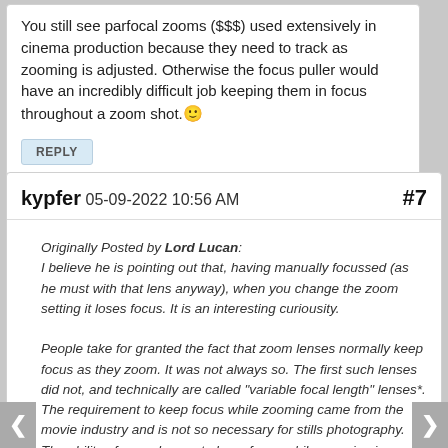You still see parfocal zooms ($$$) used extensively in cinema production because they need to track as zooming is adjusted. Otherwise the focus puller would have an incredibly difficult job keeping them in focus throughout a zoom shot. 🙂
REPLY
kypfer 05-09-2022 10:56 AM #7
Originally Posted by Lord Lucan: I believe he is pointing out that, having manually focussed (as he must with that lens anyway), when you change the zoom setting it loses focus. It is an interesting curiousity.

People take for granted the fact that zoom lenses normally keep focus as they zoom. It was not always so. The first such lenses did not, and technically are called "variable focal length" lenses*. The requirement to keep focus while zooming came from the movie industry and is not so necessary for stills photography. The ability of zoom lenses to keep focus while zooming is a technical marvel really, but as the OP found, they do have limits.
Got it … thank you 🙂
I remember when Tamron launched their original 28-